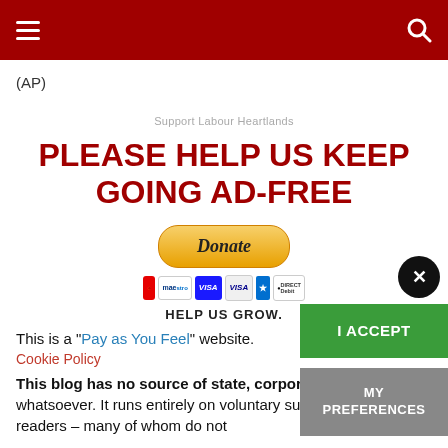≡  🔍
(AP)
Support Labour Heartlands
PLEASE HELP US KEEP GOING AD-FREE
[Figure (other): PayPal Donate button with payment card icons below it]
HELP US GROW.
This is a "Pay as You Feel" website.
Cookie Policy
This blog has no source of state, corporate finance whatsoever. It runs entirely on voluntary subscriptions from its readers – many of whom do not